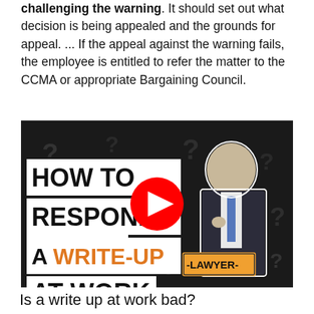challenging the warning. It should set out what decision is being appealed and the grounds for appeal. ... If the appeal against the warning fails, the employee is entitled to refer the matter to the CCMA or appropriate Bargaining Council.
[Figure (screenshot): YouTube video thumbnail showing text 'HOW TO RESPOND A WRITE-UP AT WORK' with orange accent text and a man in a suit thinking, YouTube play button overlay, and '-LAWYER-' label badge]
Is a write up at work bad?